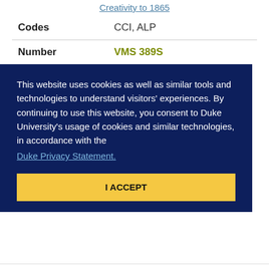Creativity to 1865
| Field | Value |
| --- | --- |
| Codes | CCI, ALP |
| Number | VMS 389S |
This website uses cookies as well as similar tools and technologies to understand visitors' experiences. By continuing to use this website, you consent to Duke University's usage of cookies and similar technologies, in accordance with the Duke Privacy Statement.
I ACCEPT